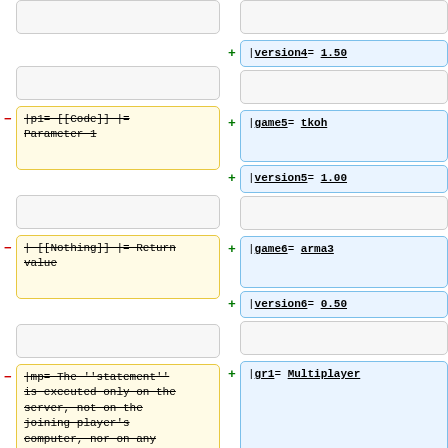- [empty box left top]
+ |version4= 1.50
[empty boxes row 2]
- |p1= [[Code]] |= Parameter 1 (strikethrough)
+ |game5= tkoh
+ |version5= 1.00
[empty boxes row 4]
- | [[Nothing]] |= Return value (strikethrough)
+ |game6= arma3
+ |version6= 0.50
[empty boxes row 6]
- |mp= The ''statement'' is executed only on the server, not on the joining player's computer, nor on any (strikethrough)
+ |gr1= Multiplayer